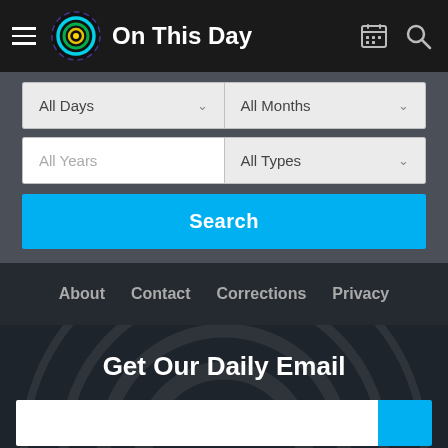On This Day
All Days
All Months
All Years
All Types
Search
About  Contact  Corrections  Privacy
Get Our Daily Email